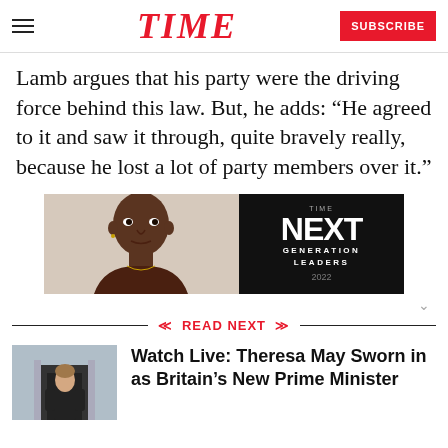TIME — SUBSCRIBE
Lamb argues that his party were the driving force behind this law. But, he adds: “He agreed to it and saw it through, quite bravely really, because he lost a lot of party members over it.”
[Figure (illustration): Advertisement banner for TIME Next Generation Leaders 2022, showing a young Black man in a dark shirt against a light background on the left, and the text 'TIME NEXT GENERATION LEADERS 2022' in white on a black background on the right.]
« READ NEXT »
[Figure (photo): Thumbnail photo of Theresa May in a dark coat, standing in front of a building.]
Watch Live: Theresa May Sworn in as Britain’s New Prime Minister